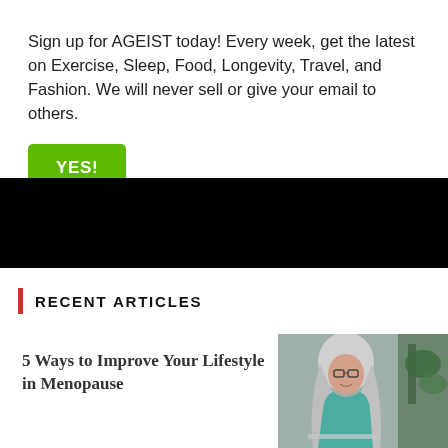Sign up for AGEIST today! Every week, get the latest on Exercise, Sleep, Food, Longevity, Travel, and Fashion. We will never sell or give your email to others.
YES!
[Figure (photo): Black banner/image bar]
RECENT ARTICLES
5 Ways to Improve Your Lifestyle in Menopause
[Figure (photo): Woman with gray hair and glasses looking at laptop, wearing teal shirt, with plant in background]